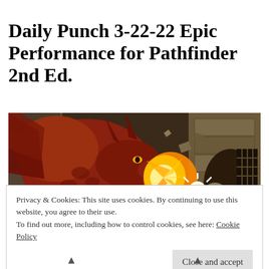Daily Punch 3-22-22 Epic Performance for Pathfinder 2nd Ed.
[Figure (illustration): Fantasy illustration of a large red dragon breathing fire at armored adventurers in a dungeon setting]
MARCH 22, 2022 ∞ LEAVE A COMMENT
Privacy & Cookies: This site uses cookies. By continuing to use this website, you agree to their use.
To find out more, including how to control cookies, see here: Cookie Policy
Close and accept